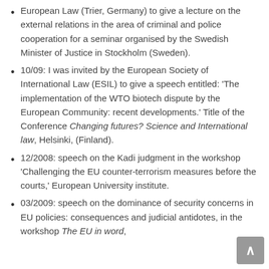European Law (Trier, Germany) to give a lecture on the external relations in the area of criminal and police cooperation for a seminar organised by the Swedish Minister of Justice in Stockholm (Sweden).
10/09: I was invited by the European Society of International Law (ESIL) to give a speech entitled: 'The implementation of the WTO biotech dispute by the European Community: recent developments.' Title of the Conference Changing futures? Science and International law, Helsinki, (Finland).
12/2008: speech on the Kadi judgment in the workshop 'Challenging the EU counter-terrorism measures before the courts,' European University institute.
03/2009: speech on the dominance of security concerns in EU policies: consequences and judicial antidotes, in the workshop The EU in word,